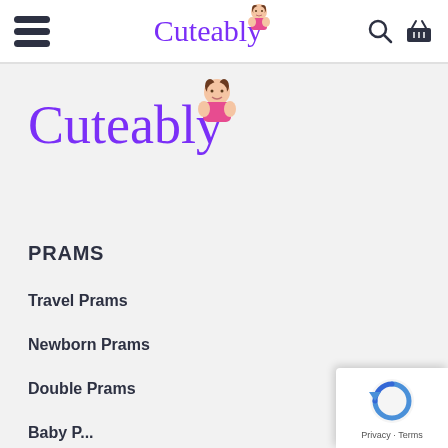[Figure (logo): Cuteably logo in header navigation bar with hamburger menu, search icon, and basket icon]
[Figure (logo): Large Cuteably purple cursive logo with cartoon child peeking over the text]
PRAMS
Travel Prams
Newborn Prams
Double Prams